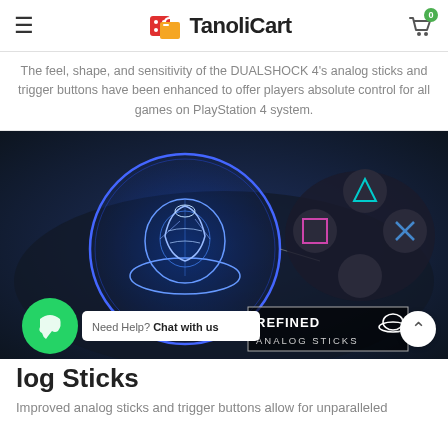TanoliCart
The feel, shape, and sensitivity of the DUALSHOCK 4's analog sticks and trigger buttons have been enhanced to offer players absolute control for all games on PlayStation 4 system.
[Figure (photo): Close-up photo of a PS4 DualShock 4 controller with a circular magnified view showing a wireframe/blueprint-style analog stick design in blue. Text overlay reads 'REFINED ANALOG STICKS' with an icon. The controller buttons (triangle, square, circle, X) are visible on the right side against a dark blue background.]
log Sticks
Improved analog sticks and trigger buttons allow for unparalleled